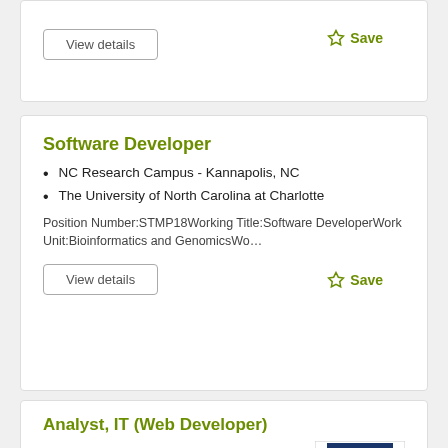View details
☆ Save
Software Developer
NC Research Campus - Kannapolis, NC
The University of North Carolina at Charlotte
Position Number:STMP18Working Title:Software DeveloperWork Unit:Bioinformatics and GenomicsWo…
View details
☆ Save
Analyst, IT (Web Developer)
Academic Services and Research Computing
[Figure (logo): University logo — white architectural spires on dark blue background]